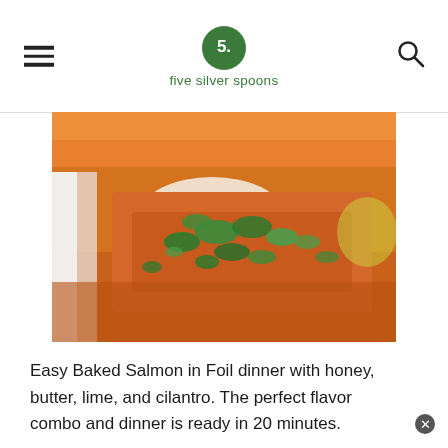five silver spoons
[Figure (photo): Close-up of baked salmon in foil topped with melted butter, fresh cilantro, and seasoning. Orange salmon flesh visible with herbs and white creamy sauce on top.]
Easy Baked Salmon in Foil dinner with honey, butter, lime, and cilantro. The perfect flavor combo and dinner is ready in 20 minutes.